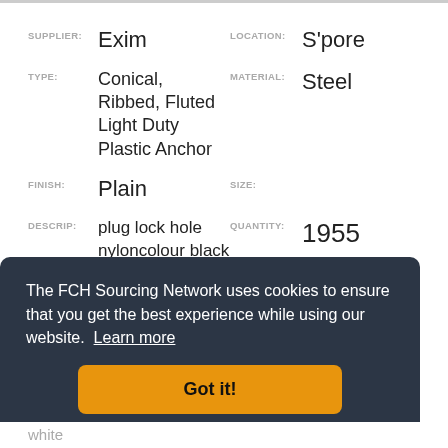SUPPLIER: Exim   LOCATION: S'pore
TYPE: Conical, Ribbed, Fluted Light Duty Plastic Anchor   MATERIAL: Steel
FINISH: Plain   SIZE:
DESCRIP: plug lock hole nyloncolour black   QUANTITY: 1955
CONTACT: Contact_Supplier
The FCH Sourcing Network uses cookies to ensure that you get the best experience while using our website. Learn more
Got it!
white